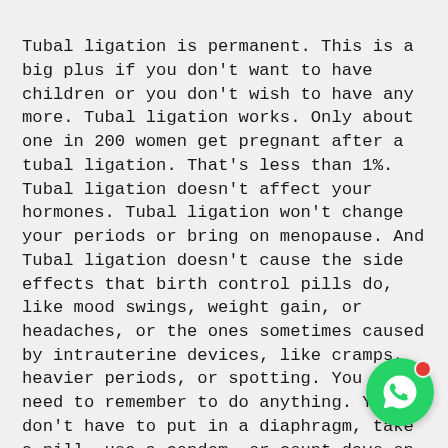Tubal ligation is permanent. This is a big plus if you don't want to have children or you don't wish to have any more. Tubal ligation works. Only about one in 200 women get pregnant after a tubal ligation. That's less than 1%. Tubal ligation doesn't affect your hormones. Tubal ligation won't change your periods or bring on menopause. And Tubal ligation doesn't cause the side effects that birth control pills do, like mood swings, weight gain, or headaches, or the ones sometimes caused by intrauterine devices, like cramps, heavier periods, or spotting. You don't need to remember to do anything. You don't have to put in a diaphragm, take a pill, use a condom, or count days on the calendar to avoid pregnancy. That may make you feel more relaxed about sex. Tubal ligation may lower your chances of ovarian cancer. Scientists aren't sure exactly why this happens, but research has shown that tubal ligation can greatly lower a woman's odds of this type of cancer. If pregnancy
[Figure (other): WhatsApp contact button (green circle with phone/chat icon and red notification dot)]